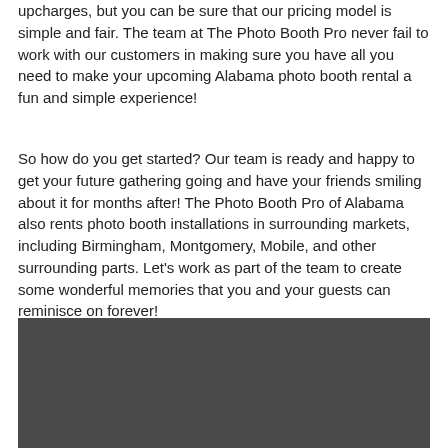upcharges, but you can be sure that our pricing model is simple and fair. The team at The Photo Booth Pro never fail to work with our customers in making sure you have all you need to make your upcoming Alabama photo booth rental a fun and simple experience!
So how do you get started? Our team is ready and happy to get your future gathering going and have your friends smiling about it for months after! The Photo Booth Pro of Alabama also rents photo booth installations in surrounding markets, including Birmingham, Montgomery, Mobile, and other surrounding parts. Let's work as part of the team to create some wonderful memories that you and your guests can reminisce on forever!
[Figure (photo): A dark gray/charcoal colored photo or image block at the bottom of the page]